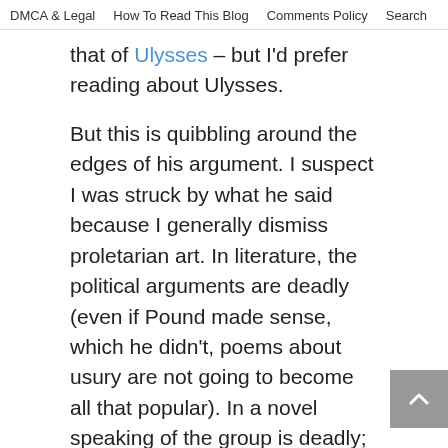DMCA & Legal   How To Read This Blog   Comments Policy   Search
that of Ulysses – but I'd prefer reading about Ulysses.
But this is quibbling around the edges of his argument. I suspect I was struck by what he said because I generally dismiss proletarian art. In literature, the political arguments are deadly (even if Pound made sense, which he didn't, poems about usury are not going to become all that popular). In a novel speaking of the group is deadly; proletarian works are generally just plain bad. The Grapes of Wrath is probably the best of that genre, but a) you'll find few people that put it in the top range of literature; and b) sometimes it transcends its genre as Steinbeck gives us individuals. (The movie, beautiful as it is, becomes a bit ridiculous when the light pours in on the